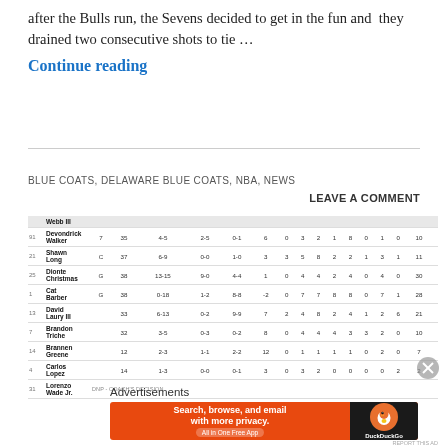after the Bulls run, the Sevens decided to get in the fun and they drained two consecutive shots to tie ...
Continue reading
BLUE COATS, DELAWARE BLUE COATS, NBA, NEWS
LEAVE A COMMENT
| # | Player |  |  |  |  |  |  |  |  |  |  |  |  |  |  |  |
| --- | --- | --- | --- | --- | --- | --- | --- | --- | --- | --- | --- | --- | --- | --- | --- | --- |
|  | Webb III |  |  |  |  |  |  |  |  |  |  |  |  |  |  |  |
| 91 | Devondrick Walker | 7 | 35 | 4-5 | 2-5 | 0-1 | 6 | 0 | 3 | 2 | 1 | 8 | 0 | 1 | 0 | 10 |
| 21 | Shawn Long | C | 37 | 6-9 | 0-0 | 1-0 | 3 | 3 | 5 | 8 | 2 | 2 | 1 | 3 | 1 | 2 | 11 |
| 25 | Dionte Christmas | G | 38 | 13-15 | 9-0 | 4-4 | 1 | 0 | 4 | 4 | 2 | 4 | 0 | 4 | 0 | 0 | 30 |
| 1 | Cat Barber | G | 38 | 0-18 | 1-2 | 8-8 | -2 | 0 | 7 | 7 | 8 | 8 | 0 | 7 | 1 | 0 | 28 |
| 13 | David Laury III |  | 33 | 6-13 | 0-2 | 9-9 | 7 | 2 | 4 | 8 | 2 | 4 | 1 | 2 | 6 | 0 | 21 |
| 7 | Brandon Triche |  | 32 | 3-5 | 0-3 | 0-2 | 8 | 0 | 4 | 4 | 4 | 3 | 3 | 2 | 0 | 1 | 10 |
| 14 | Brannen Greene |  | 12 | 2-3 | 1-1 | 2-2 | 12 | 0 | 1 | 1 | 1 | 1 | 0 | 2 | 0 | 0 | 7 |
| 4 | Carlos Lopez |  | 14 | 1-3 | 0-0 | 0-1 | 3 | 0 | 3 | 2 | 0 | 0 | 0 | 0 | 2 | 1 | 2 |
| 31 | Lorenzo Wade Jr. | DNP - COACH'S DECISION |  |  |  |  |  |  |  |  |  |  |  |  |  |  |
Advertisements
[Figure (infographic): DuckDuckGo advertisement banner: Search, browse, and email with more privacy. All in One Free App]